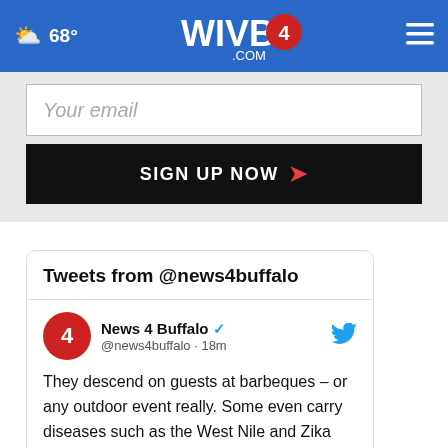68° WIVB4.COM
Your email
SIGN UP NOW
Tweets from @news4buffalo
News 4 Buffalo @news4buffalo · 18m
They descend on guests at barbeques – or any outdoor event really. Some even carry diseases such as the West Nile and Zika viruses. It's the dreaded mosquito. But do these pests serve a purpose? bit.ly/3TH40E1